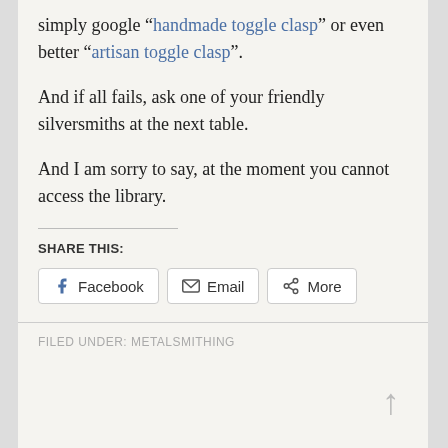simply google “handmade toggle clasp” or even better “artisan toggle clasp”.
And if all fails, ask one of your friendly silversmiths at the next table.
And I am sorry to say, at the moment you cannot access the library.
SHARE THIS:
Facebook  Email  More
FILED UNDER: METALSMITHING